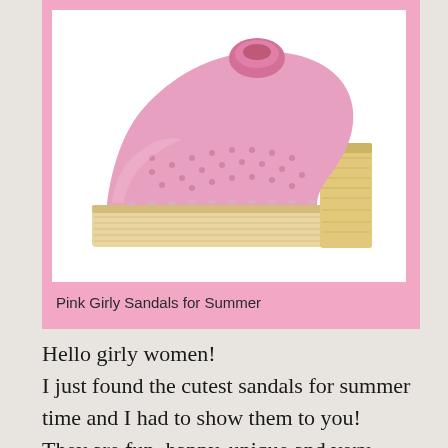[Figure (photo): Pink perforated high-heel clog sandal with wooden platform sole and velcro strap, shown on white background]
Pink Girly Sandals for Summer
Hello girly women!
I just found the cutest sandals for summer time and I had to show them to you!
They are fun, happy, unique and very colorful, of course!
After all summer is all about colors!